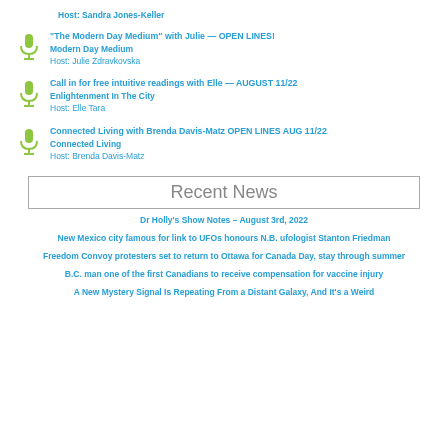Host: Sandra Jones-Keller
“The Modern Day Medium” with Julie — OPEN LINES!
Modern Day Medium
Host: Julie Zdravkovska
Call in for free intuitive readings with Elle — AUGUST 11/22
Enlightenment In The City
Host: Elle Tara
Connected Living with Brenda Davis-Matz OPEN LINES AUG 11/22
Connected Living
Host: Brenda Davis-Matz
Recent News
Dr Holly’s Show Notes – August 3rd, 2022
New Mexico city famous for link to UFOs honours N.B. ufologist Stanton Friedman
Freedom Convoy protesters set to return to Ottawa for Canada Day, stay through summer
B.C. man one of the first Canadians to receive compensation for vaccine injury
A New Mystery Signal Is Repeating From a Distant Galaxy, And It’s a Weird